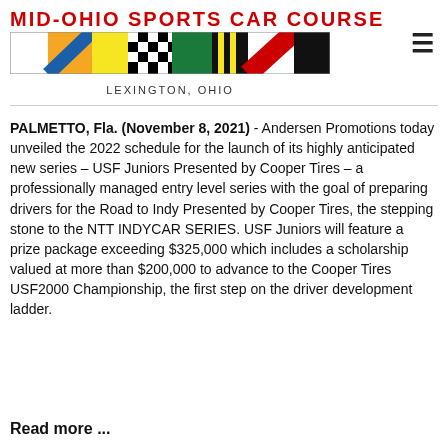MID-OHIO SPORTS CAR COURSE
[Figure (illustration): Racing flag bar with multiple colored flag segments: white, orange/blue diagonal, yellow, red/checkered, green, yellow/black stripes, white/red diagonal, black]
LEXINGTON, OHIO
PALMETTO, Fla. (November 8, 2021) - Andersen Promotions today unveiled the 2022 schedule for the launch of its highly anticipated new series – USF Juniors Presented by Cooper Tires – a professionally managed entry level series with the goal of preparing drivers for the Road to Indy Presented by Cooper Tires, the stepping stone to the NTT INDYCAR SERIES. USF Juniors will feature a prize package exceeding $325,000 which includes a scholarship valued at more than $200,000 to advance to the Cooper Tires USF2000 Championship, the first step on the driver development ladder.
Read more ...